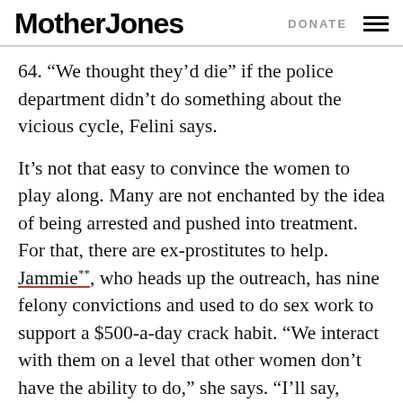Mother Jones | DONATE
64. “We thought they’d die” if the police department didn’t do something about the vicious cycle, Felini says.
It’s not that easy to convince the women to play along. Many are not enchanted by the idea of being arrested and pushed into treatment. For that, there are ex-prostitutes to help. Jammie**, who heads up the outreach, has nine felony convictions and used to do sex work to support a $500-a-day crack habit. “We interact with them on a level that other women don’t have the ability to do,” she says. “I’ll say, ‘What is so great about getting calluses on your knees that you don’t want to leave behind?’”